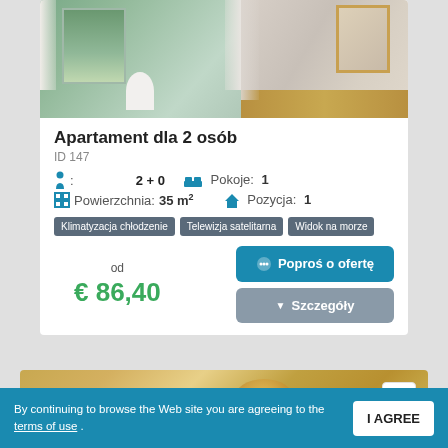[Figure (photo): Interior photo of an apartment room with window, curtains, white chair, and natural light]
Apartament dla 2 osób
ID 147
2 + 0   Pokoje: 1
Powierzchnia: 35 m²   Pozycja: 1
Klimatyzacja chłodzenie
Telewizja satelitarna
Widok na morze
od
€ 86,40
Poproś o ofertę
Szczegóły
[Figure (photo): Interior photo of apartment - second listing, warm lighting]
By continuing to browse the Web site you are agreeing to the terms of use .